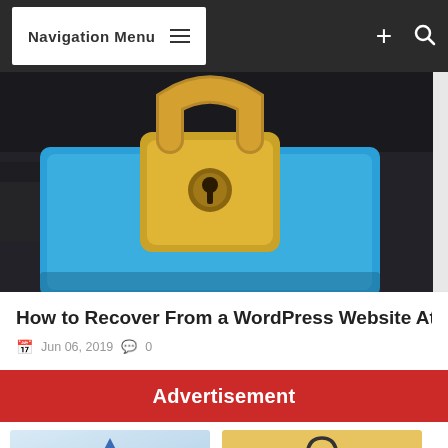Navigation Menu
[Figure (photo): Close-up photo of a keyboard with a blue key showing the word 'hack' partially visible, and a large golden padlock placed on top of it, symbolizing cybersecurity or a hacked website.]
How to Recover From a WordPress Website Att
Jun 06, 2019  0
So your WordPress website was attacked. Wh next?...
Advertisement
[Figure (illustration): Two advertisement thumbnail images side by side: left shows a blue background with a triangular logo (possibly Anvil or similar), right shows a yellow background with an icon of a storage/bag container with a padlock.]